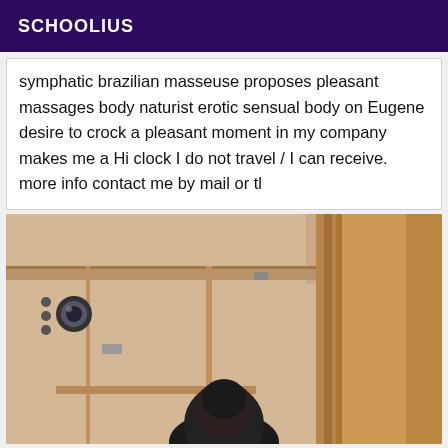SCHOOLIUS
symphatic brazilian masseuse proposes pleasant massages body naturist erotic sensual body on Eugene desire to crock a pleasant moment in my company makes me a Hi clock I do not travel / I can receive. more info contact me by mail or tl
[Figure (photo): Interior room photo showing wooden furniture/closet, a camera tripod or dark object in the foreground bottom-center, beige/tan tones throughout]